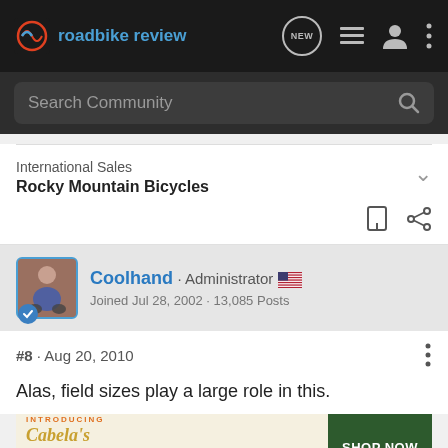roadbike review
Search Community
International Sales
Rocky Mountain Bicycles
Coolhand · Administrator
Joined Jul 28, 2002 · 13,085 Posts
#8 · Aug 20, 2010
Alas, field sizes play a large role in this.
[Figure (screenshot): Cabela's Ascend Adventure Bikes advertisement banner with Shop Now button]